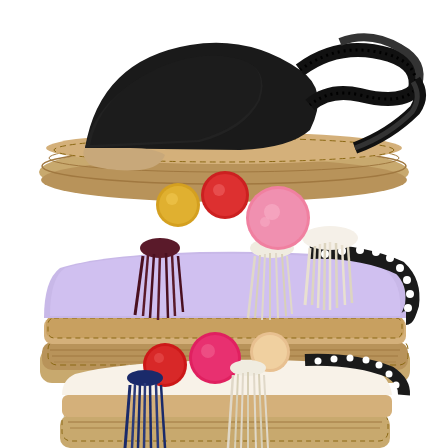[Figure (photo): A collage of three espadrille shoes on white background. Top: a black suede espadrille sandal with cross-ankle black ribbon straps and jute rope sole. Middle: a lavender/light purple espadrille mule slide with colorful pom-poms (yellow, red/maroon, pink, cream/white) and tassels on the toe, black and white dotted trim, and jute sole. Bottom (partially visible): another espadrille mule with multicolor pom-poms (red, pink, orange/cream) and navy/blue tassels, similar jute sole and dotted trim.]